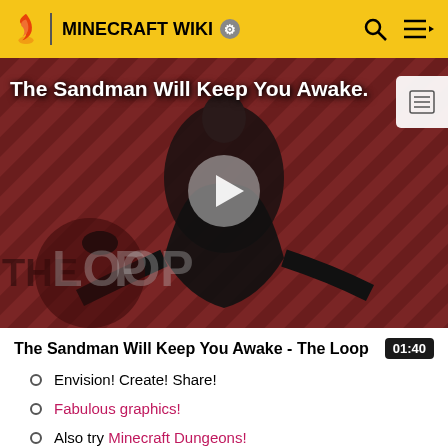MINECRAFT WIKI
[Figure (screenshot): Video thumbnail showing a dark-robed figure against a red diagonal striped background with 'THE LOOP' text overlay, play button in center, and 'The Sandman Will Keep You Awake.' title text at top left]
The Sandman Will Keep You Awake - The Loop
Envision! Create! Share!
Fabulous graphics!
Also try Minecraft Dungeons!
Vanilla!